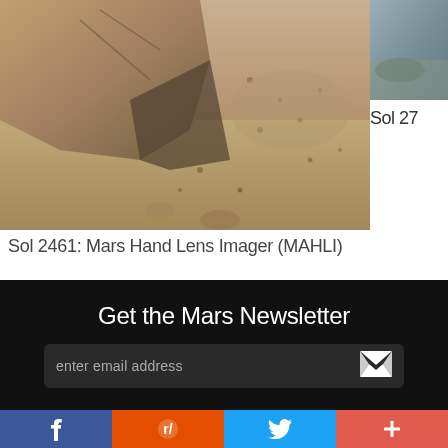[Figure (photo): Mars surface rock close-up taken by MAHLI camera, showing sandy reddish-brown rock texture with cracks and small holes]
[Figure (photo): Partial thumbnail of another Mars image showing blue-grey tones, partially cropped on right side]
Sol 27
Sol 2461: Mars Hand Lens Imager (MAHLI)
Get the Mars Newsletter
enter email address
Follow Curiosity
f  reddit  twitter  +